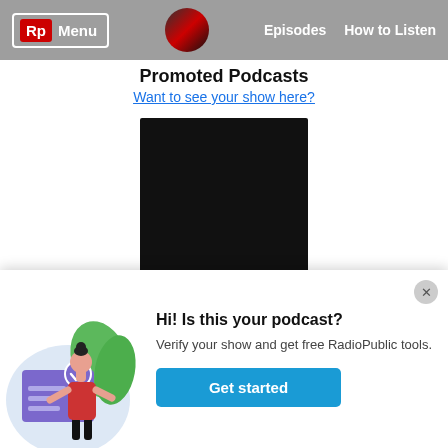Rp Menu | Episodes | How to Listen
Promoted Podcasts
Want to see your show here?
[Figure (illustration): Black square podcast cover image for No Sabes Nada]
No Sabes Nada
Somos Lula Almeyda, José Manuel Bustamante y Claudia Cayo. El pilar de nuestra amistad son las series y un poco
[Figure (illustration): Popup card with illustration of a person verifying a podcast, with text Hi! Is this your podcast? and a Get started button]